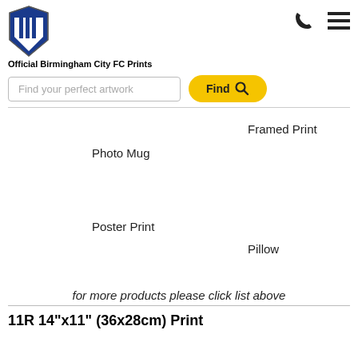[Figure (logo): Birmingham City FC logo - football club crest in blue and white]
Official Birmingham City FC Prints
[Figure (other): Phone icon (handset) in black]
[Figure (other): Hamburger menu icon (three horizontal lines) in black]
Find your perfect artwork
Find
Framed Print
Photo Mug
Poster Print
Pillow
for more products please click list above
11R 14"x11" (36x28cm) Print